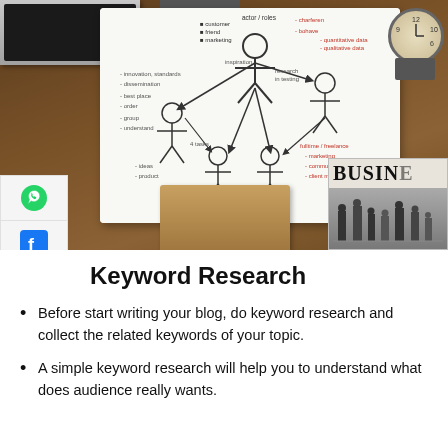[Figure (photo): A desk scene with a whiteboard showing a user persona/marketing mind map diagram with stick figures and arrows, surrounded by a laptop, clock, newspaper (BUSINESS headline), brown book, and notebooks on a wooden table. Social media share buttons (WhatsApp, Facebook, Like, Twitter, Email) visible on the left side.]
Keyword Research
Before start writing your blog, do keyword research and collect the related keywords of your topic.
A simple keyword research will help you to understand what does audience really wants.